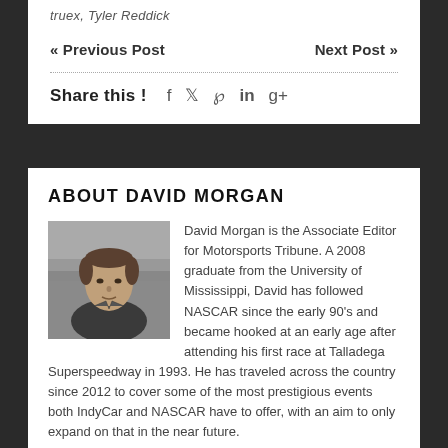truex, Tyler Reddick
« Previous Post    Next Post »
Share this !   f   y   p   in   g+
ABOUT DAVID MORGAN
[Figure (photo): Black and white headshot of David Morgan, a man in a dark shirt with short hair, photographed outdoors at what appears to be a racetrack.]
David Morgan is the Associate Editor for Motorsports Tribune. A 2008 graduate from the University of Mississippi, David has followed NASCAR since the early 90's and became hooked at an early age after attending his first race at Talladega Superspeedway in 1993. He has traveled across the country since 2012 to cover some of the most prestigious events both IndyCar and NASCAR have to offer, with an aim to only expand on that in the near future.